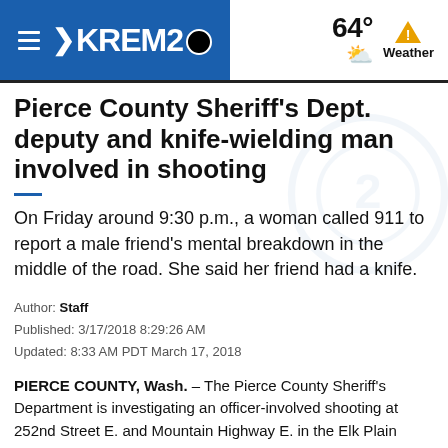KREM2 — 64° Weather
Pierce County Sheriff's Dept. deputy and knife-wielding man involved in shooting
On Friday around 9:30 p.m., a woman called 911 to report a male friend's mental breakdown in the middle of the road. She said her friend had a knife.
Author: Staff
Published: 3/17/2018 8:29:26 AM
Updated: 8:33 AM PDT March 17, 2018
PIERCE COUNTY, Wash. – The Pierce County Sheriff's Department is investigating an officer-involved shooting at 252nd Street E. and Mountain Highway E. in the Elk Plain Area.